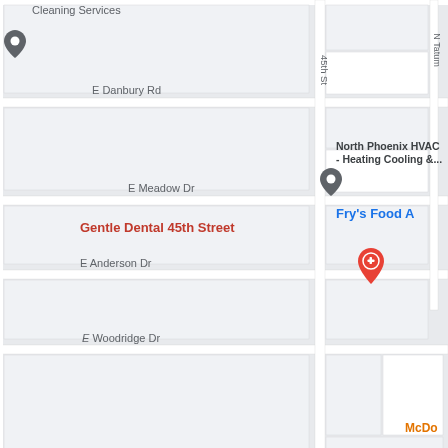[Figure (map): Google Maps screenshot showing area around North Phoenix near Bell Road and 45th Street/Tatum Blvd. Shows streets including E Danbury Rd, E Meadow Dr, E Anderson Dr, E Woodridge Dr, Bell Rd, E Juniper Ave, E Phelps Rd, E Kelton Ln, N 44th St, N 45th St, N 45th Pl. Points of interest include Gentle Dental 45th Street (red pin), North Phoenix HVAC - Heating Cooling &..., Fry's Food A[nd Drug], Tatum Point (blue pin/shopping center), Walmart Supercenter (blue pin), Petco (blue pin), The Home [Depot] (partial), The Beeman Bee Removal (dark pin), Mark Honeck Realtor, Self Sto[rage] (partial), Crumbl Co[okies] (partial), McDo[nalds] (partial), Cleaning Services (partial top).]